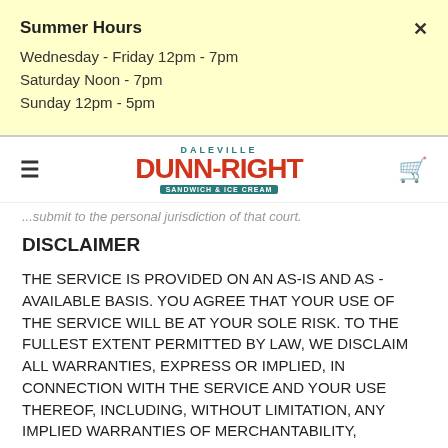Summer Hours
Wednesday - Friday 12pm - 7pm
Saturday Noon - 7pm
Sunday 12pm - 5pm
[Figure (logo): Daleville Dunn-Right Sandwich and Ice Cream logo with teal and red text]
...submit to the personal jurisdiction of that court.
DISCLAIMER
THE SERVICE IS PROVIDED ON AN AS-IS AND AS - AVAILABLE BASIS. YOU AGREE THAT YOUR USE OF THE SERVICE WILL BE AT YOUR SOLE RISK. TO THE FULLEST EXTENT PERMITTED BY LAW, WE DISCLAIM ALL WARRANTIES, EXPRESS OR IMPLIED, IN CONNECTION WITH THE SERVICE AND YOUR USE THEREOF, INCLUDING, WITHOUT LIMITATION, ANY IMPLIED WARRANTIES OF MERCHANTABILITY,